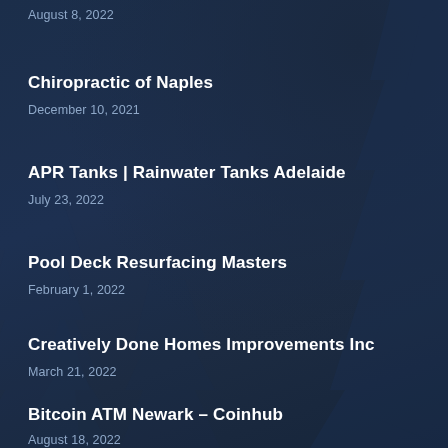August 8, 2022
Chiropractic of Naples
December 10, 2021
APR Tanks | Rainwater Tanks Adelaide
July 23, 2022
Pool Deck Resurfacing Masters
February 1, 2022
Creatively Done Homes Improvements Inc
March 21, 2022
Bitcoin ATM Newark – Coinhub
August 18, 2022